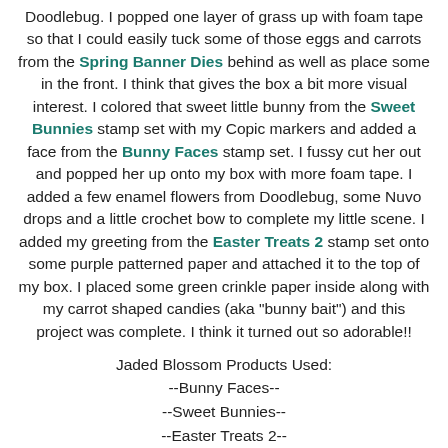Doodlebug. I popped one layer of grass up with foam tape so that I could easily tuck some of those eggs and carrots from the Spring Banner Dies behind as well as place some in the front. I think that gives the box a bit more visual interest. I colored that sweet little bunny from the Sweet Bunnies stamp set with my Copic markers and added a face from the Bunny Faces stamp set. I fussy cut her out and popped her up onto my box with more foam tape. I added a few enamel flowers from Doodlebug, some Nuvo drops and a little crochet bow to complete my little scene. I added my greeting from the Easter Treats 2 stamp set onto some purple patterned paper and attached it to the top of my box. I placed some green crinkle paper inside along with my carrot shaped candies (aka "bunny bait") and this project was complete. I think it turned out so adorable!!
Jaded Blossom Products Used:
--Bunny Faces--
--Sweet Bunnies--
--Easter Treats 2--
--Spring Dies--
--Spring Banner Dies--
--Crate Die--